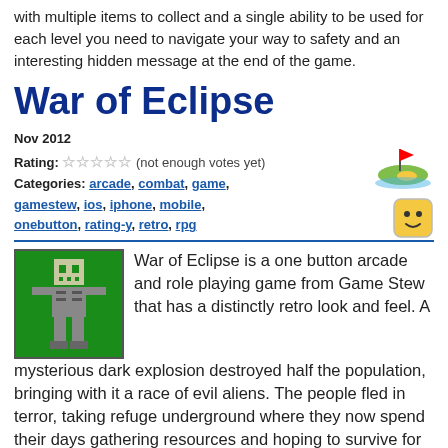with multiple items to collect and a single ability to be used for each level you need to navigate your way to safety and an interesting hidden message at the end of the game.
War of Eclipse
Nov 2012
Rating: ☆☆☆☆☆ (not enough votes yet)
Categories: arcade, combat, game, gamestew, ios, iphone, mobile, onebutton, rating-y, retro, rpg
War of Eclipse is a one button arcade and role playing game from Game Stew that has a distinctly retro look and feel. A mysterious dark explosion destroyed half the population, bringing with it a race of evil aliens. The people fled in terror, taking refuge underground where they now spend their days gathering resources and hoping to survive for another day. But now, just when you get your new ship, the aliens attack. Now you've got to defend humanity the only way you know how: with steampunk ships that fire lasers!